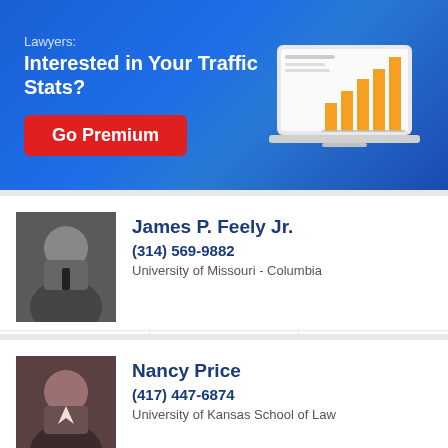[Figure (infographic): Blue banner advertisement for lawyer premium traffic stats service with bar chart graphic on laptop and Go Premium red button]
James P. Feely Jr.
(314) 569-9882
University of Missouri - Columbia
website | profile | email
Nancy Price
(417) 447-6874
University of Kansas School of Law